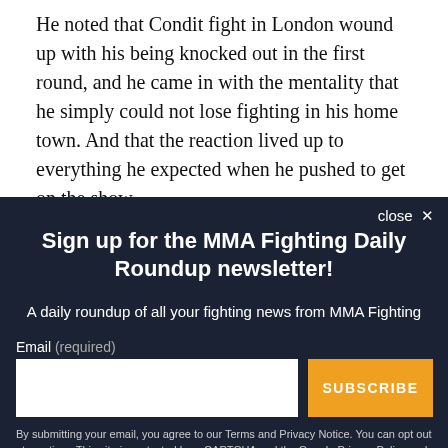He noted that Condit fight in London wound up with his being knocked out in the first round, and he came in with the mentality that he simply could not lose fighting in his home town. And that the reaction lived up to everything he expected when he pushed to get on the show.
"I've been in that building a few times for ice hockey, but that
close ✕
Sign up for the MMA Fighting Daily Roundup newsletter!
A daily roundup of all your fighting news from MMA Fighting
Email (required)
SUBSCRIBE
By submitting your email, you agree to our Terms and Privacy Notice. You can opt out at any time. This site is protected by reCAPTCHA and the Google Privacy Policy and Terms of Service apply.